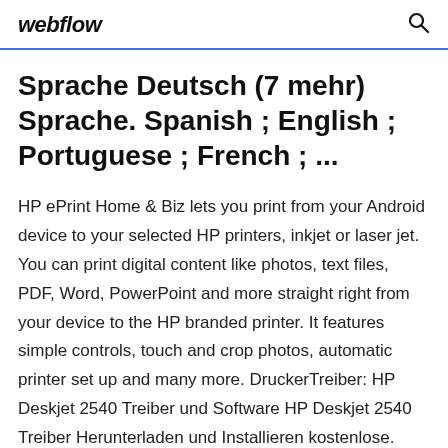webflow
Sprache Deutsch (7 mehr) Sprache. Spanish ; English ; Portuguese ; French ; ...
HP ePrint Home & Biz lets you print from your Android device to your selected HP printers, inkjet or laser jet. You can print digital content like photos, text files, PDF, Word, PowerPoint and more straight right from your device to the HP branded printer. It features simple controls, touch and crop photos, automatic printer set up and many more. DruckerTreiber: HP Deskjet 2540 Treiber und Software HP Deskjet 2540 Treiber Herunterladen und Installieren kostenlose. (Scanner & Software) Windows 10,